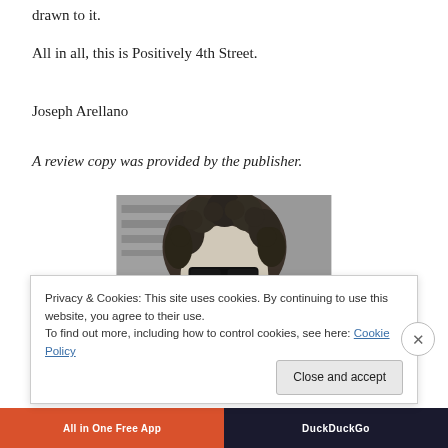drawn to it.
All in all, this is Positively 4th Street.
Joseph Arellano
A review copy was provided by the publisher.
[Figure (photo): Black and white photo of a person with curly hair wearing dark sunglasses, close-up portrait]
Privacy & Cookies: This site uses cookies. By continuing to use this website, you agree to their use.
To find out more, including how to control cookies, see here: Cookie Policy
Close and accept
All in One Free App   DuckDuckGo